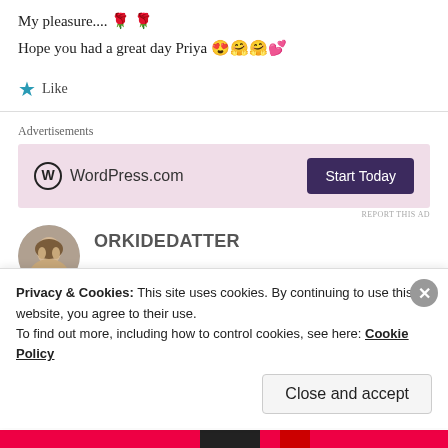My pleasure.... 🌹 🌹
Hope you had a great day Priya 😍🤗🤗💕
⭐ Like
Advertisements
[Figure (screenshot): WordPress.com advertisement banner with pink background, WordPress logo, and 'Start Today' button]
REPORT THIS AD
[Figure (photo): Circular avatar photo of a woman (ORKIDEDATTER author)]
ORKIDEDATTER
Privacy & Cookies: This site uses cookies. By continuing to use this website, you agree to their use. To find out more, including how to control cookies, see here: Cookie Policy
Close and accept